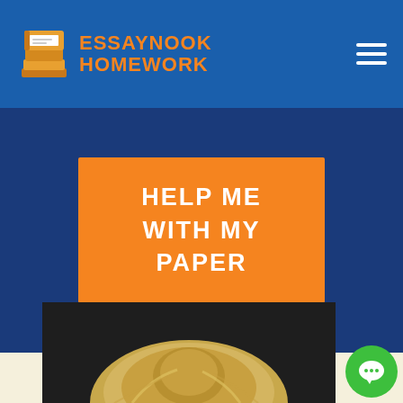ESSAYNOOK HOMEWORK
HELP ME WITH MY PAPER
[Figure (photo): Blonde person with hair up viewed from behind/above against dark background, partial view at page bottom]
[Figure (illustration): Green circular chat bubble button in bottom right corner]